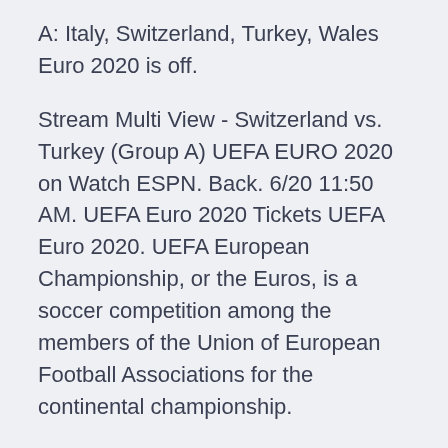A: Italy, Switzerland, Turkey, Wales Euro 2020 is off.
Stream Multi View - Switzerland vs. Turkey (Group A) UEFA EURO 2020 on Watch ESPN. Back. 6/20 11:50 AM. UEFA Euro 2020 Tickets UEFA Euro 2020. UEFA European Championship, or the Euros, is a soccer competition among the members of the Union of European Football Associations for the continental championship.